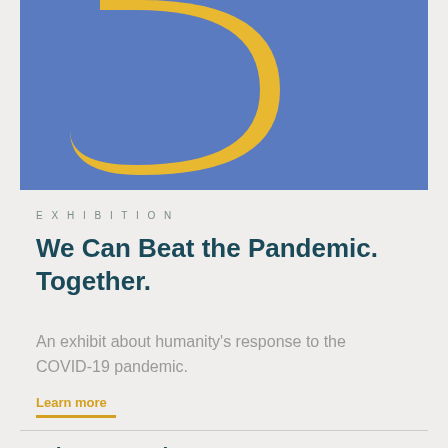[Figure (illustration): Blue rectangular banner with a yellow/gold letter D shape visible at the top, partially cropped]
EXHIBITION
We Can Beat the Pandemic. Together.
An exhibit about humanity’s response to the COVID-19 pandemic.
Learn more
Where You Live